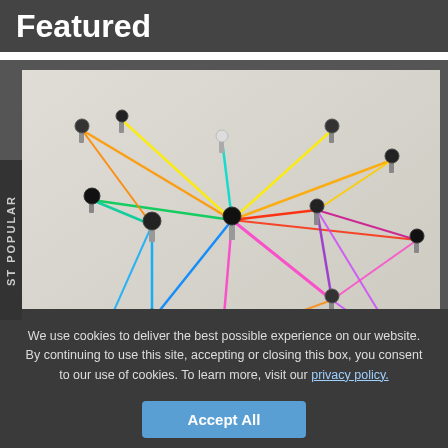Featured
[Figure (photo): Colorful strings connecting metal pins/nails in a network pattern on a light surface, photographed from above at an angle. Colors include cyan, blue, yellow, green, orange, pink, red, magenta, and purple.]
ST POPULAR
We use cookies to deliver the best possible experience on our website. By continuing to use this site, accepting or closing this box, you consent to our use of cookies. To learn more, visit our privacy policy.
Accept All